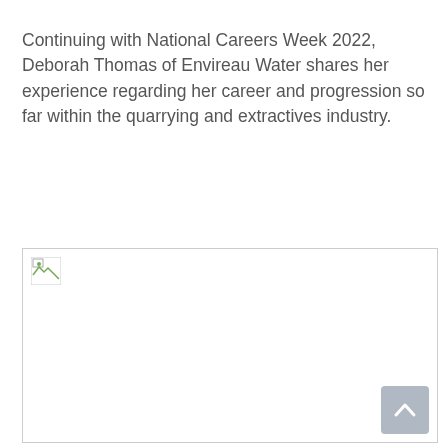Continuing with National Careers Week 2022, Deborah Thomas of Envireau Water shares her experience regarding her career and progression so far within the quarrying and extractives industry.
Read More →
[Figure (photo): A broken/missing image placeholder showing a small broken image icon in the top-left corner of a white rectangle with a border. A 'back to top' button with an upward arrow is visible in the bottom-right corner.]